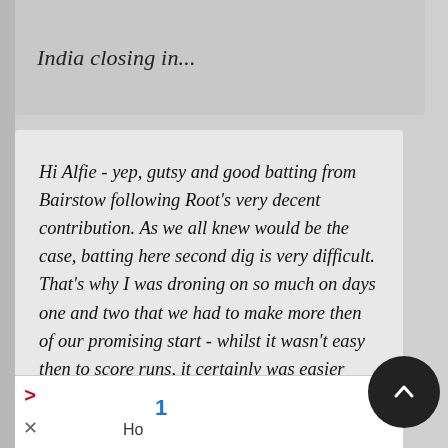India closing in...
Hi Alfie - yep, gutsy and good batting from Bairstow following Root's very decent contribution. As we all knew would be the case, batting here second dig is very difficult. That's why I was droning on so much on days one and two that we had to make more then of our promising start - whilst it wasn't easy then to score runs, it certainly was easier than now.
And to cap it all ... the all too often gifted wicket of a nightwatchman!